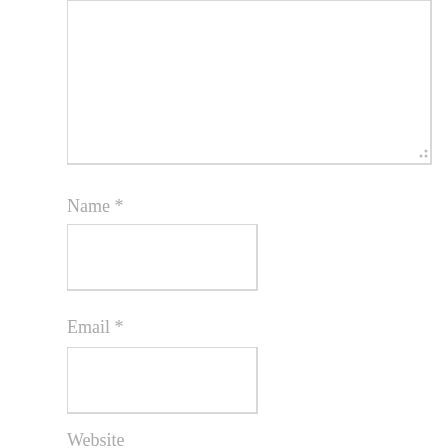[Figure (other): Large textarea input box with resize handle in bottom-right corner, gray border]
Name *
[Figure (other): Text input box for Name field, gray border]
Email *
[Figure (other): Text input box for Email field, gray border]
Website
[Figure (other): Text input box for Website field, gray border, partially visible]